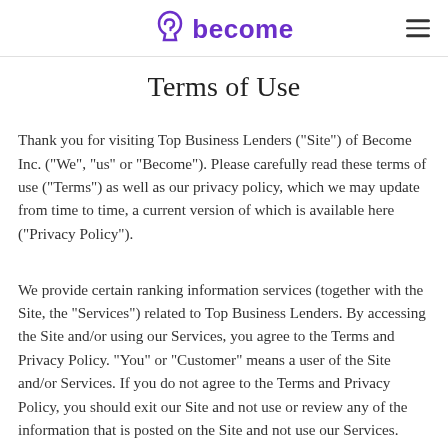become
Terms of Use
Thank you for visiting Top Business Lenders ("Site") of Become Inc. ("We", "us" or "Become"). Please carefully read these terms of use ("Terms") as well as our privacy policy, which we may update from time to time, a current version of which is available here ("Privacy Policy").
We provide certain ranking information services (together with the Site, the "Services") related to Top Business Lenders. By accessing the Site and/or using our Services, you agree to the Terms and Privacy Policy. "You" or "Customer" means a user of the Site and/or Services. If you do not agree to the Terms and Privacy Policy, you should exit our Site and not use or review any of the information that is posted on the Site and not use our Services.
We may revise the Terms at any time without notice by updating this Site. All updates to the Terms will be